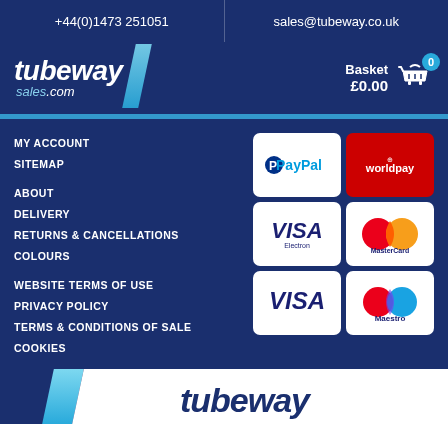+44(0)1473 251051   sales@tubeway.co.uk
[Figure (logo): tubeWay sales.com logo with blue and cyan slash graphic]
Basket £0.00 0
MY ACCOUNT
SITEMAP
ABOUT
DELIVERY
RETURNS & CANCELLATIONS
COLOURS
WEBSITE TERMS OF USE
PRIVACY POLICY
TERMS & CONDITIONS OF SALE
COOKIES
[Figure (other): Payment method icons: PayPal, Worldpay, Visa Electron, MasterCard, Visa, Maestro]
[Figure (illustration): Footer graphic with blue and white diagonal slash shapes and partial logo text]